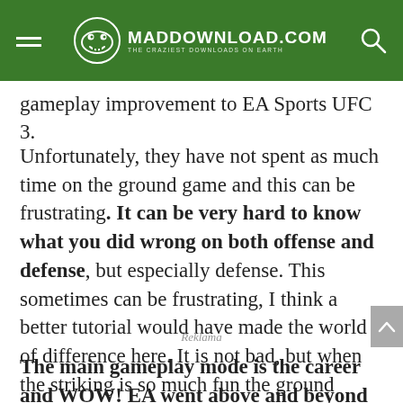MADDOWNLOAD.COM — THE CRAZIEST DOWNLOADS ON EARTH
gameplay improvement to EA Sports UFC 3.
Unfortunately, they have not spent as much time on the ground game and this can be frustrating. It can be very hard to know what you did wrong on both offense and defense, but especially defense. This sometimes can be frustrating, I think a better tutorial would have made the world of difference here. It is not bad, but when the striking is so much fun the ground game stands out like a sore thumb.
Reklama
The main gameplay mode is the career and WOW! EA went above and beyond for the career mode in EA